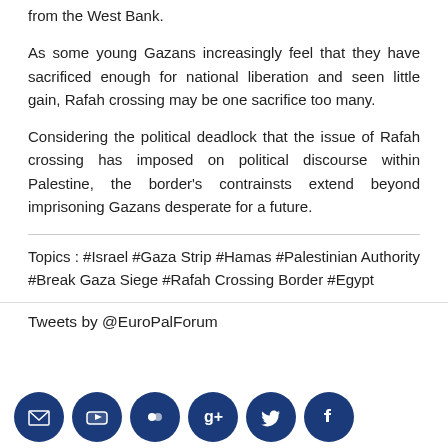from the West Bank.
As some young Gazans increasingly feel that they have sacrificed enough for national liberation and seen little gain, Rafah crossing may be one sacrifice too many.
Considering the political deadlock that the issue of Rafah crossing has imposed on political discourse within Palestine, the border's contrainsts extend beyond imprisoning Gazans desperate for a future.
Topics : #Israel #Gaza Strip #Hamas #Palestinian Authority #Break Gaza Siege #Rafah Crossing Border #Egypt
Tweets by @EuroPalForum
[Figure (other): Row of six social media icon circles (email, YouTube, Flickr, Google+, Twitter, Facebook) in dark blue]